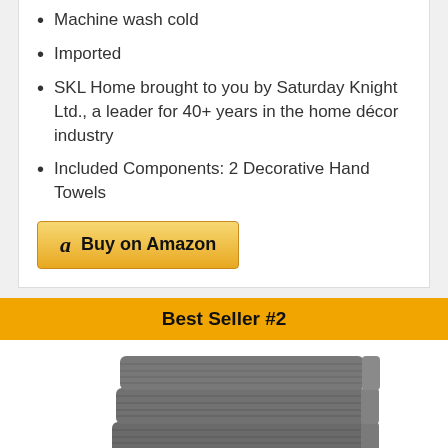Machine wash cold
Imported
SKL Home brought to you by Saturday Knight Ltd., a leader for 40+ years in the home décor industry
Included Components: 2 Decorative Hand Towels
Buy on Amazon
Best Seller #2
[Figure (photo): Stack of grey folded microfiber towels]